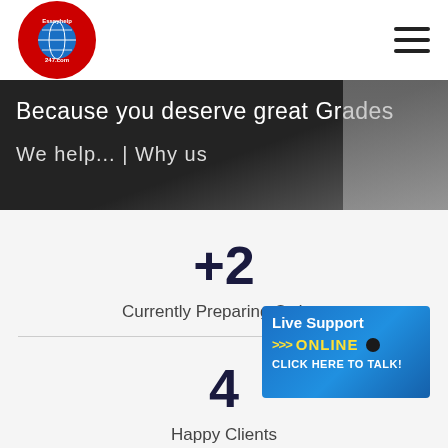Essayhelp247.com logo and navigation
[Figure (photo): Dark chalkboard banner with text 'Because you deserve great Grades' and 'We help... Why us' with a woman pointing at the board on the right side]
+2
Currently Preparing Orders
[Figure (infographic): Live Support Online - Click Here to Talk! banner with blue background and yellow text]
4
Happy Clients